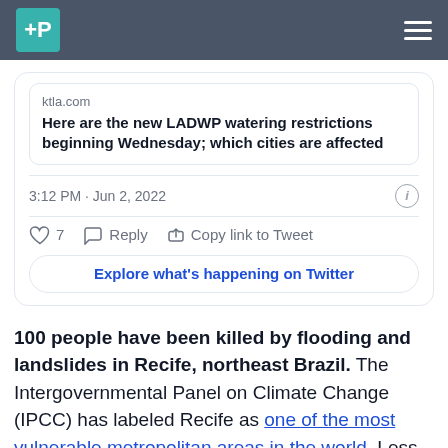+P [logo] [hamburger menu]
[Figure (screenshot): Tweet card with link preview from ktla.com: 'Here are the new LADWP watering restrictions beginning Wednesday; which cities are affected'. Timestamp: 3:12 PM · Jun 2, 2022. Actions: 7 likes, Reply, Copy link to Tweet. Button: Explore what's happening on Twitter.]
100 people have been killed by flooding and landslides in Recife, northeast Brazil. The Intergovernmental Panel on Climate Change (IPCC) has labeled Recife as one of the most vulnerable metropolitan areas in the world. Less affluent urban areas with no capacity to adapt to climate change will face the most risks as the planet warms.